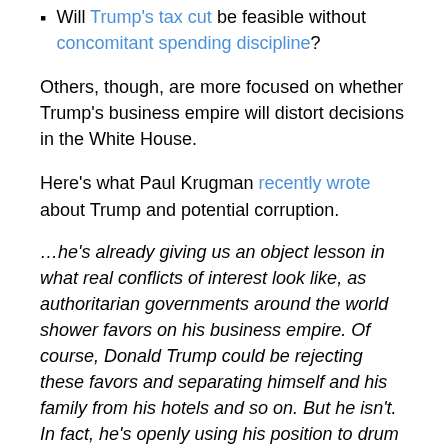Will Trump's tax cut be feasible without concomitant spending discipline?
Others, though, are more focused on whether Trump's business empire will distort decisions in the White House.
Here's what Paul Krugman recently wrote about Trump and potential corruption.
…he's already giving us an object lesson in what real conflicts of interest look like, as authoritarian governments around the world shower favors on his business empire. Of course, Donald Trump could be rejecting these favors and separating himself and his family from his hotels and so on. But he isn't. In fact, he's openly using his position to drum up business. …The question you need to ask is why this matters. American is a republic, not a...